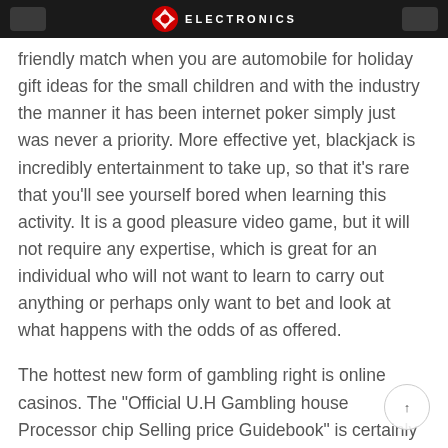ELECTRONICS
friendly match when you are automobile for holiday gift ideas for the small children and with the industry the manner it has been internet poker simply just was never a priority. More effective yet, blackjack is incredibly entertainment to take up, so that it’s rare that you’ll see yourself bored when learning this activity. It is a good pleasure video game, but it will not require any expertise, which is great for an individual who will not want to learn to carry out anything or perhaps only want to bet and look at what happens with the odds of as offered.
The hottest new form of gambling right is online casinos. The “Official U.H Gambling house Processor chip Selling price Guidebook” is certainly not the simply learning resource outside there for those who enjoy getting internet poker poker chips. informative